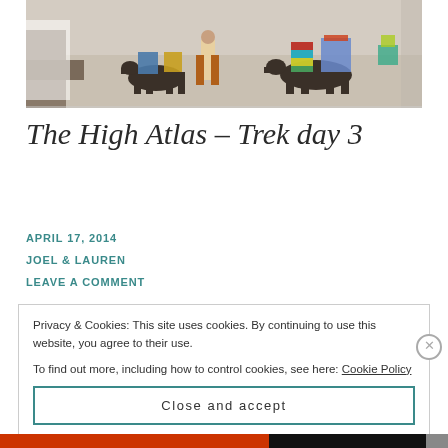[Figure (photo): Photo of pack animals (donkeys/mules) loaded with colorful cargo walking on a stone path, with people nearby]
The High Atlas – Trek day 3
APRIL 17, 2014
JOEL & LAUREN
LEAVE A COMMENT
Privacy & Cookies: This site uses cookies. By continuing to use this website, you agree to their use.
To find out more, including how to control cookies, see here: Cookie Policy
Close and accept